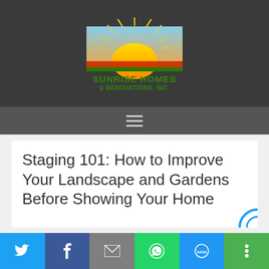[Figure (logo): Sunrise Homes & Renovations, Inc. logo with sun graphic and green text on dark background]
Staging 101: How to Improve Your Landscape and Gardens Before Showing Your Home
[Figure (infographic): Social share bar with Twitter, Facebook, Email, WhatsApp, SMS, and More buttons]